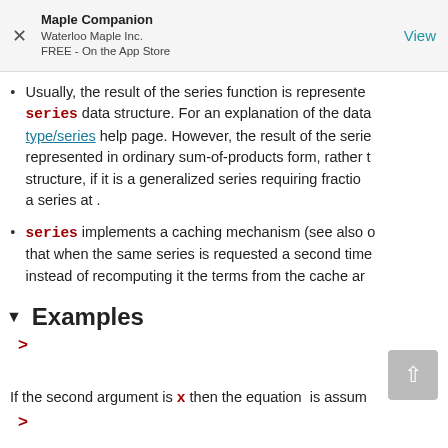Maple Companion
Waterloo Maple Inc.
FREE - On the App Store
View
Usually, the result of the series function is represented series data structure. For an explanation of the data type/series help page. However, the result of the serie represented in ordinary sum-of-products form, rather t structure, if it is a generalized series requiring fractio a series at .
series implements a caching mechanism (see also o that when the same series is requested a second time instead of recomputing it the terms from the cache ar
Examples
>
If the second argument is x then the equation is assum
>